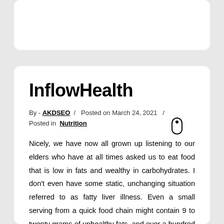InflowHealth
By - AKDSEO / Posted on March 24, 2021 / Posted in Nutrition
Nicely, we have now all grown up listening to our elders who have at all times asked us to eat food that is low in fats and wealthy in carbohydrates. I don't even have some static, unchanging situation referred to as fatty liver illness. Even a small serving from a quick food chain might contain 9 to twenty grams of unhealthy fats, and over a hundred and